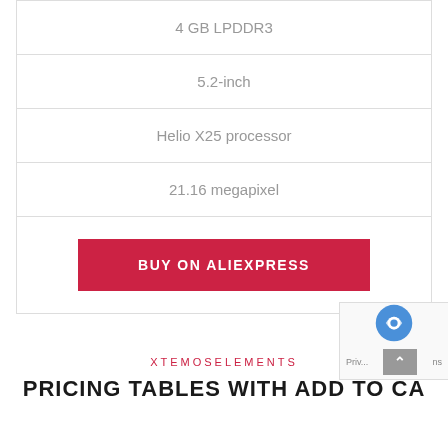| 4 GB LPDDR3 |
| 5.2-inch |
| Helio X25 processor |
| 21.16 megapixel |
| BUY ON ALIEXPRESS |
XTEMOSELEMENTS
PRICING TABLES WITH ADD TO CART